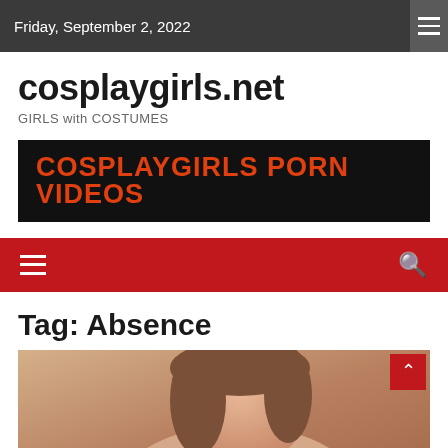Friday, September 2, 2022
cosplaygirls.net
GIRLS with COSTUMES
[Figure (other): Black banner with orange-red bold text: COSPLAYGIRLS PORN VIDEOS]
Tag: Absence
[Figure (photo): Close-up photo of a young woman looking down, wearing a black top, with warm tan/brown background tones]